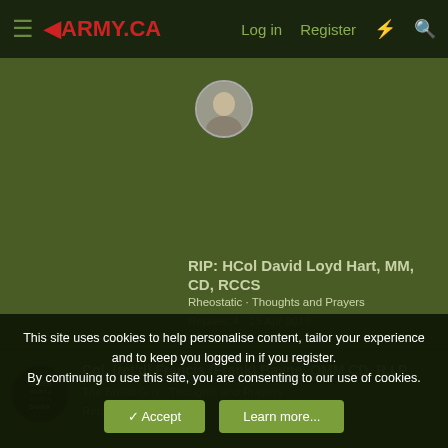≡ ARMY.CA  Log in  Register
RIP: HCol David Loyd Hart, MM, CD, RCCS
Rheostatic · Thoughts and Prayers
Replies: 4 · 13 Apr 2019
Col. (ret'd) Francis (Frank) Bayne, OMM CD, R.I.P.
The Bread Guy · Thoughts and Prayers
Replies: 8 · 11 Apr 2019
This site uses cookies to help personalise content, tailor your experience and to keep you logged in if you register.
By continuing to use this site, you are consenting to our use of cookies.
[Accept] [Learn more...]